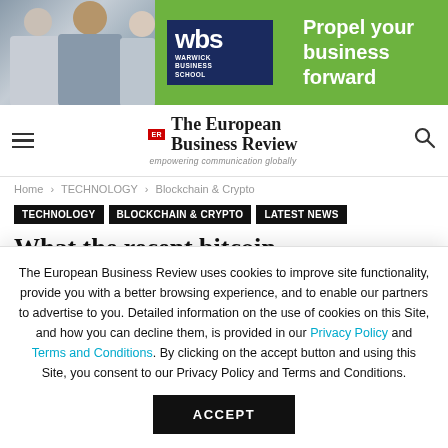[Figure (photo): Advertisement banner for Warwick Business School with photo of students and green background with text 'Propel your business forward']
The European Business Review — empowering communication globally
Home › TECHNOLOGY › Blockchain & Crypto
TECHNOLOGY   Blockchain & Crypto   Latest News
What the recent bitcoin...
The European Business Review uses cookies to improve site functionality, provide you with a better browsing experience, and to enable our partners to advertise to you. Detailed information on the use of cookies on this Site, and how you can decline them, is provided in our Privacy Policy and Terms and Conditions. By clicking on the accept button and using this Site, you consent to our Privacy Policy and Terms and Conditions.
ACCEPT